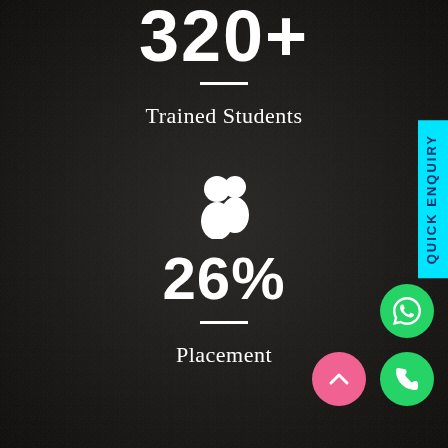320+
Trained Students
[Figure (illustration): White silhouette icon of two people (students/group icon)]
26%
Placement
[Figure (other): Cyan vertical Quick Enquiry button tab on right side]
[Figure (other): Green WhatsApp circle button with phone icon]
[Figure (other): Green phone call circle button]
[Figure (other): Pink/salmon scroll-up circle button with chevron up icon]